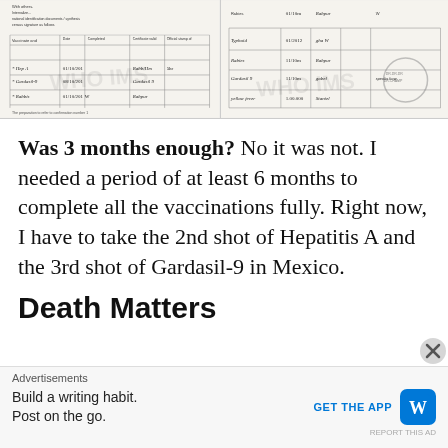[Figure (photo): Two scanned vaccination/immunization record documents (WHO/IMS format) showing handwritten entries for vaccines including Hep A, Gardasil-9, and Rabies with dates and signature stamps.]
Was 3 months enough? No it was not. I needed a period of at least 6 months to complete all the vaccinations fully. Right now, I have to take the 2nd shot of Hepatitis A and the 3rd shot of Gardasil-9 in Mexico.
Death Matters
Advertisements
Build a writing habit. Post on the go.
GET THE APP